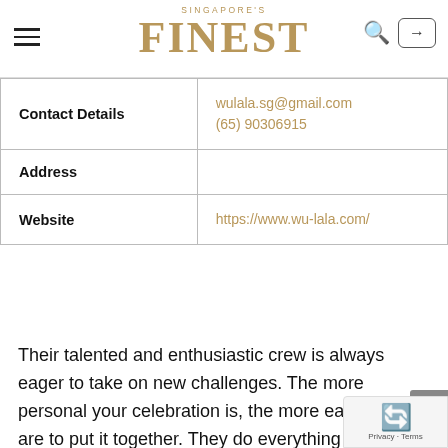Singapore's Finest
| Contact Details | wulala.sg@gmail.com
(65) 90306915 |
| Address |  |
| Website | https://www.wu-lala.com/ |
Their talented and enthusiastic crew is always eager to take on new challenges. The more personal your celebration is, the more eager they are to put it together. They do everything from creative direction to bespoke installations, décor procurement, and prop design and construction. They like to assume they can give you nearly